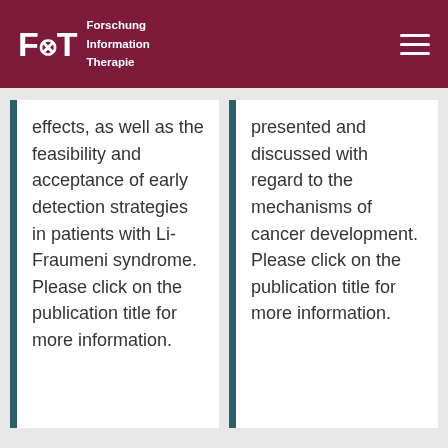FIT Forschung Information Therapie
effects, as well as the feasibility and acceptance of early detection strategies in patients with Li-Fraumeni syndrome. Please click on the publication title for more information.
presented and discussed with regard to the mechanisms of cancer development. Please click on the publication title for more information.
“Cancer incidence
“Ein Update zum Li-